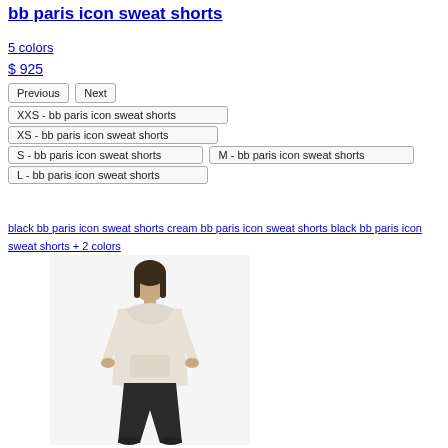bb paris icon sweat shorts
5 colors
$ 925
[Figure (screenshot): UI buttons: Previous, Next, size selectors (XXS, XS, S, M, L) for bb paris icon sweat shorts]
black bb paris icon sweat shorts cream bb paris icon sweat shorts black bb paris icon sweat shorts + 2 colors
[Figure (photo): Person wearing a cream hoodie and dark pants, standing against white background]